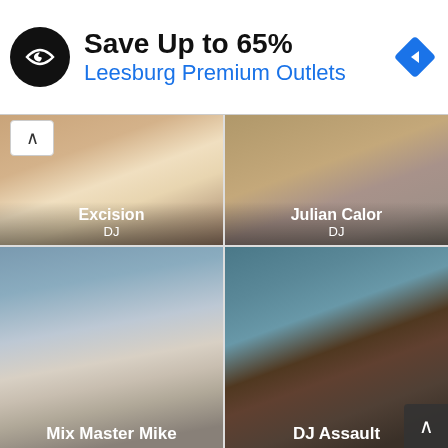[Figure (screenshot): Advertisement banner: Save Up to 65% at Leesburg Premium Outlets with logo and navigation arrow]
[Figure (photo): Grid of DJ profile photos: Excision (DJ), Julian Calor (DJ), Mix Master Mike, DJ Assault]